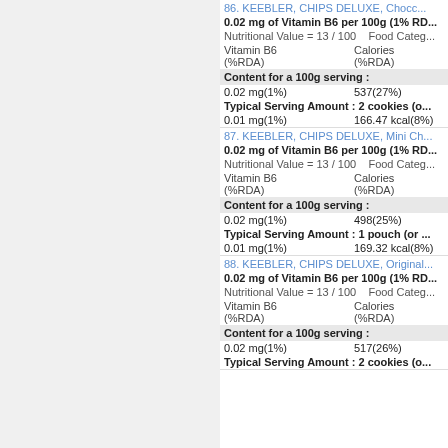86. KEEBLER, CHIPS DELUXE, Chocolate Lovers
0.02 mg of Vitamin B6 per 100g (1% RDA)
Nutritional Value = 13 / 100    Food Category
Vitamin B6 (%RDA)    Calories (%RDA)
Content for a 100g serving :
0.02 mg(1%)    537(27%)
Typical Serving Amount : 2 cookies (o
0.01 mg(1%)    166.47 kcal(8%)
87. KEEBLER, CHIPS DELUXE, Mini Ch
0.02 mg of Vitamin B6 per 100g (1% RD
Nutritional Value = 13 / 100    Food Categ
Vitamin B6 (%RDA)    Calories (%RDA)
Content for a 100g serving :
0.02 mg(1%)    498(25%)
Typical Serving Amount : 1 pouch (or
0.01 mg(1%)    169.32 kcal(8%)
88. KEEBLER, CHIPS DELUXE, Original
0.02 mg of Vitamin B6 per 100g (1% RD
Nutritional Value = 13 / 100    Food Categ
Vitamin B6 (%RDA)    Calories (%RDA)
Content for a 100g serving :
0.02 mg(1%)    517(26%)
Typical Serving Amount : 2 cookies (o